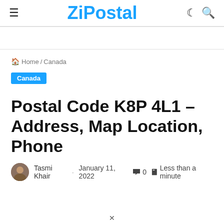ZiPostal
Home / Canada
Canada
Postal Code K8P 4L1 – Address, Map Location, Phone
Tasmi Khair · January 11, 2022  0  Less than a minute